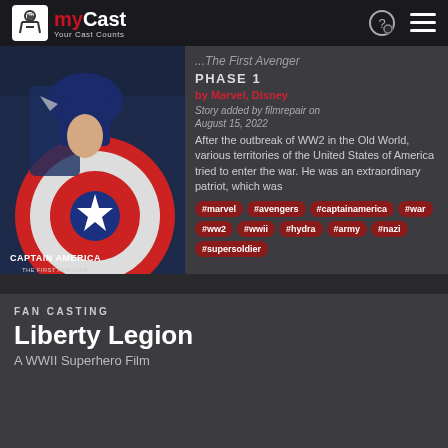myCast — Your Cast Counts
The First Avenger PHASE 1
by Marvel, Disney
Story added by filmrepair on August 15, 2022
After the outbreak of WW2 in the Old World, various territories of the United States of America tried to enter the war. He was an extraordinary patriot, which was
#marvel
#avengers
#captainamerica
#war
#ww2
#wwii
#hydra
#army
#nazi
#supersoldier
FAN CASTING
Liberty Legion
A WWII Superhero Film